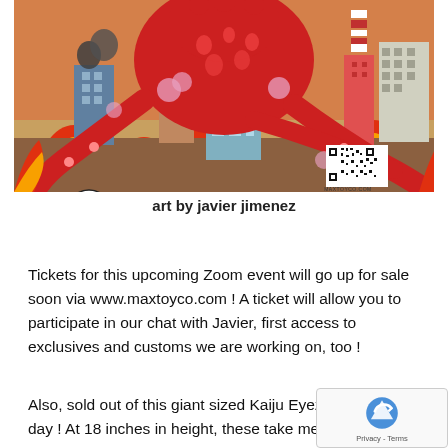[Figure (illustration): Colorful cartoon illustration of a giant red monster/kaiju with tentacles destroying a city, with flames, buildings, smoke, logos including Max Toy Co and Stickup Monsters, and a QR code with text MAXTOYCO.COM]
art by javier jimenez
Tickets for this upcoming Zoom event will go up for sale soon via www.maxtoyco.com ! A ticket will allow you to participate in our chat with Javier, first access to exclusives and customs we are working on, too !
Also, sold out of this giant sized Kaiju Eyezon the other day ! At 18 inches in height, these take me extra time to